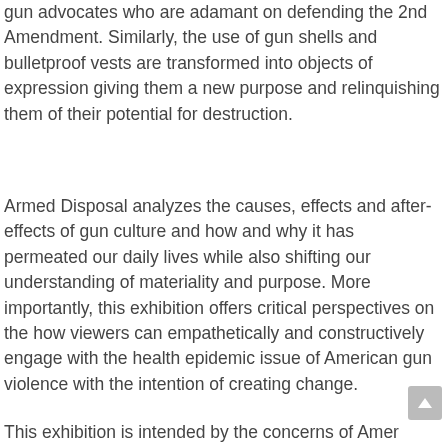gun advocates who are adamant on defending the 2nd Amendment. Similarly, the use of gun shells and bulletproof vests are transformed into objects of expression giving them a new purpose and relinquishing them of their potential for destruction.
Armed Disposal analyzes the causes, effects and after-effects of gun culture and how and why it has permeated our daily lives while also shifting our understanding of materiality and purpose. More importantly, this exhibition offers critical perspectives on the how viewers can empathetically and constructively engage with the health epidemic issue of American gun violence with the intention of creating change.
This exhibition is intended by the concerns of Amer...